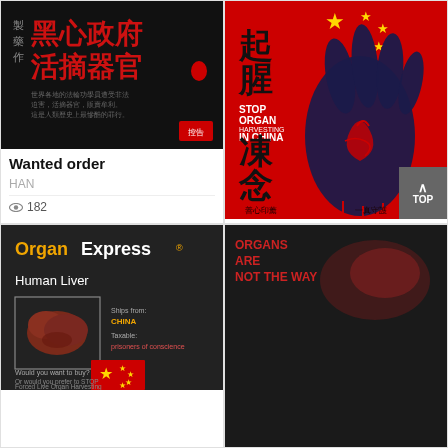[Figure (illustration): Black background poster with Chinese text '黑心政府活摘器官' in red and white, with small red icon]
Wanted order
HAN
182
[Figure (illustration): Red background poster with Chinese characters '起腥' and '凍念', text 'STOP ORGAN HARVESTING IN CHINA', dark blue hand graphic with organ, Chinese stars]
Stop! In the name of Love
莫其霖
4313
Popular
[Figure (illustration): Dark background graphic for OrganExpress showing Human Liver, Ships from CHINA, prisoner of conscience text, Chinese flag element at bottom]
[Figure (illustration): Partial dark poster visible at bottom right with red text 'ORGANS ARE NOT THE WAY']